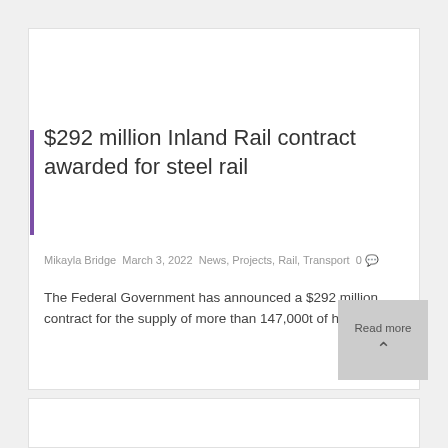$292 million Inland Rail contract awarded for steel rail
Mikayla Bridge March 3, 2022 News, Projects, Rail, Transport 0
The Federal Government has announced a $292 million contract for the supply of more than 147,000t of high quality...